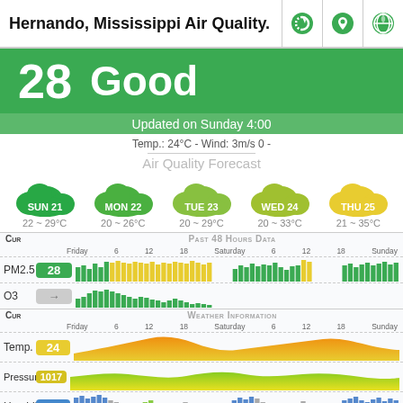Hernando, Mississippi Air Quality.
28  Good
Updated on Sunday 4:00
Temp.: 24°C - Wind: 3m/s 0 -
Air Quality Forecast
[Figure (infographic): Air quality forecast cloud icons for SUN 21, MON 22, TUE 23, WED 24, THU 25 with temperature ranges]
|  | CUR | PAST 48 HOURS DATA |
| --- | --- | --- |
| PM2.5 | 28 | bar chart Friday–Sunday |
| O3 | → | bar chart Friday–Saturday |
|  | CUR | WEATHER INFORMATION |
| --- | --- | --- |
| Temp. | 24 | area chart Friday–Sunday |
| Pressure | 1017 | area chart Friday–Sunday |
| Humidi | 96 | bar chart Friday–Sunday |